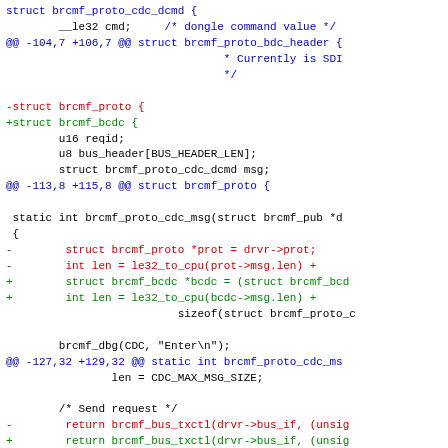[Figure (screenshot): Code diff showing struct brcmf_proto renamed to brcmf_bcdc and related function changes in a C source file diff format, with red lines indicating removed code and green lines indicating added code, blue lines for diff headers.]